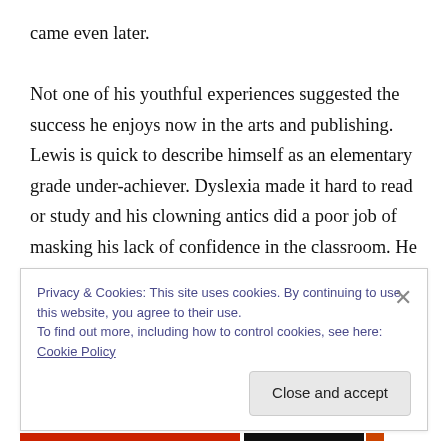came even later.

Not one of his youthful experiences suggested the success he enjoys now in the arts and publishing. Lewis is quick to describe himself as an elementary grade under-achiever. Dyslexia made it hard to read or study and his clowning antics did a poor job of masking his lack of confidence in the classroom. He flunked the third grade. The problems with teachers continued through middle school. But Lewis credits a college professor uncle for getting — and keeping him in Saturday morning art
Privacy & Cookies: This site uses cookies. By continuing to use this website, you agree to their use.
To find out more, including how to control cookies, see here: Cookie Policy